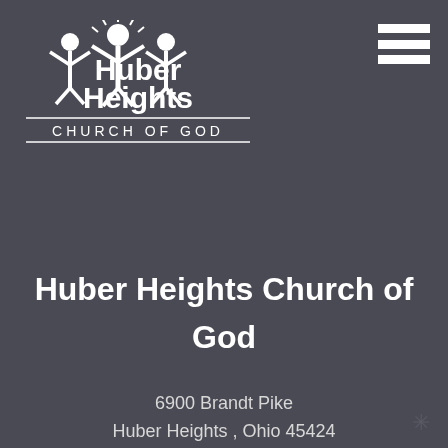[Figure (logo): Huber Heights Church of God logo — white stylized figures with raised arms above text 'Huber Heights CHURCH OF GOD']
[Figure (other): Hamburger menu icon — three white horizontal bars]
Huber Heights Church of God
6900 Brandt Pike
Huber Heights , Ohio 45424
Phone: 937-233-3137
View Map & Directions »